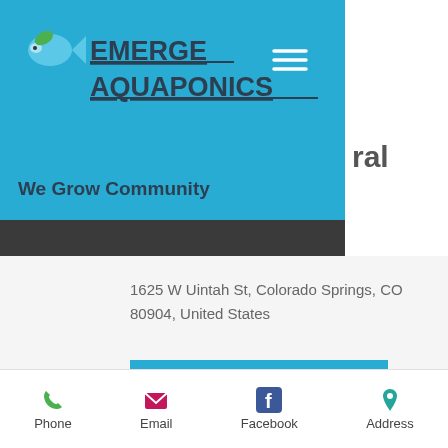[Figure (logo): Emerge Aquaponics logo with fish icon and underlined bold text reading EMERGE AQUAPONICS]
EMERGE AQUAPONICS
We Grow Community
ral
1625 W Uintah St, Colorado Springs, CO 80904, United States
Get Directions
[Figure (logo): Creative Commons style CC logo, gold circle with black square and gold CC letters]
Phone  Email  Facebook  Address